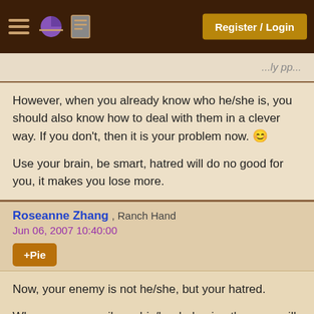Register / Login
However, when you already know who he/she is, you should also know how to deal with them in a clever way. If you don't, then it is your problem now. :)
Use your brain, be smart, hatred will do no good for you, it makes you lose more.
Roseanne Zhang , Ranch Hand
Jun 06, 2007 10:40:00
+Pie
Now, your enemy is not he/she, but your hatred.
When you can smile on his/her behavior, then you will become a winner!
Trust me, try to smile!